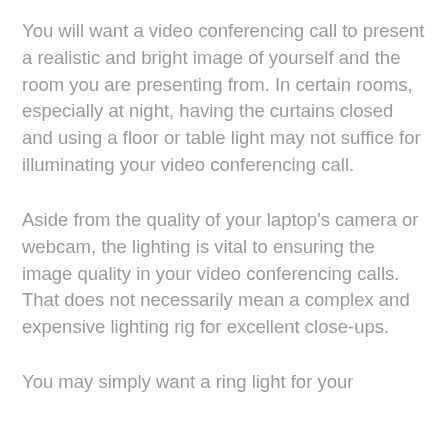You will want a video conferencing call to present a realistic and bright image of yourself and the room you are presenting from. In certain rooms, especially at night, having the curtains closed and using a floor or table light may not suffice for illuminating your video conferencing call.
Aside from the quality of your laptop's camera or webcam, the lighting is vital to ensuring the image quality in your video conferencing calls. That does not necessarily mean a complex and expensive lighting rig for excellent close-ups.
You may simply want a ring light for your